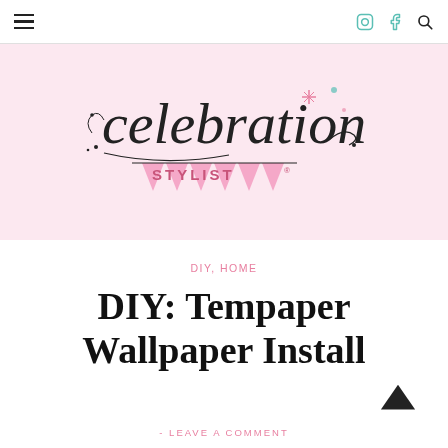Navigation bar with hamburger menu, Instagram, Facebook, and search icons
[Figure (logo): Celebration Stylist logo in cursive script with pink banner and sparkles on light pink background]
DIY, HOME
DIY: Tempaper Wallpaper Install
- LEAVE A COMMENT